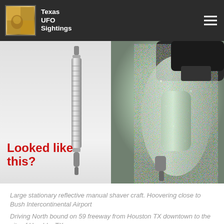Texas UFO Sightings
[Figure (photo): Composite image with two panels. Left panel shows a silver metallic vape pen/e-cigarette on a light gray background with red bold text overlay reading 'Looked like this?'. Right panel shows a glittery/reflective metallic drill or power tool on a mottled background.]
Large stationary reflective manual shaver craft. Hoovering close to Bush Intercontinental Airport
Driving North bound on 59 freeway from Houston TX downtown to the city of Humble, TX....